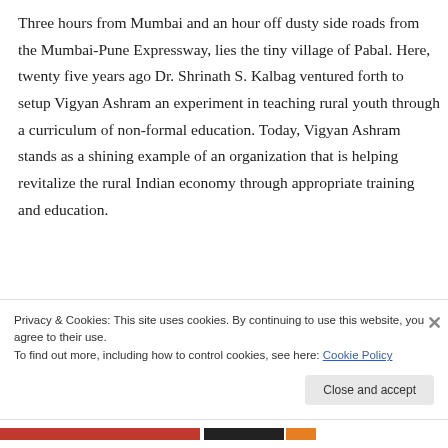Three hours from Mumbai and an hour off dusty side roads from the Mumbai-Pune Expressway, lies the tiny village of Pabal. Here, twenty five years ago Dr. Shrinath S. Kalbag ventured forth to setup Vigyan Ashram an experiment in teaching rural youth through a curriculum of non-formal education. Today, Vigyan Ashram stands as a shining example of an organization that is helping revitalize the rural Indian economy through appropriate training and education.
Privacy & Cookies: This site uses cookies. By continuing to use this website, you agree to their use.
To find out more, including how to control cookies, see here: Cookie Policy